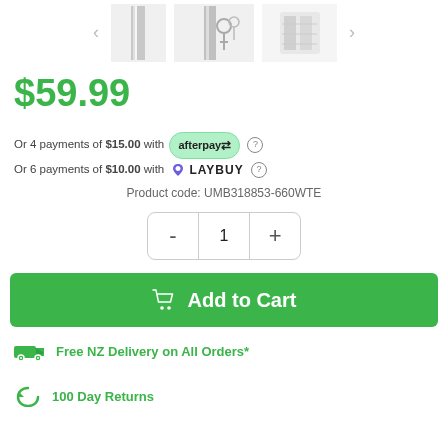[Figure (photo): Product image gallery showing a chrome/silver umbrella stand with keys, with navigation arrows and thumbnail images]
$59.99
Or 4 payments of $15.00 with afterpay
Or 6 payments of $10.00 with LAYBUY
Product code: UMB318853-660WTE
- 1 +
Add to Cart
Free NZ Delivery on All Orders*
100 Day Returns